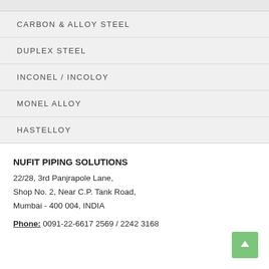CARBON & ALLOY STEEL
DUPLEX STEEL
INCONEL / INCOLOY
MONEL ALLOY
HASTELLOY
NUFIT PIPING SOLUTIONS
22/28, 3rd Panjrapole Lane,
Shop No. 2, Near C.P. Tank Road,
Mumbai - 400 004, INDIA

Phone: 0091-22-6617 2569 / 2242 3168